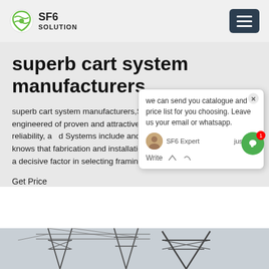SF6 SOLUTION
superb cart system manufacturers
superb cart system manufacturers,S. Aluminum has designed and engineered of proven and attractive storefront s long-lasting quality, reliability, and Systems include and offset glazed s Aluminum knows that fabrication and installation labor costs have always been a decisive factor in selecting framing system for storefront projects.
Get Price
[Figure (photo): Power transmission tower / electrical infrastructure photo at bottom of page]
[Figure (screenshot): Chat popup overlay: 'we can send you catalogue and price list for you choosing. Leave us your email or whatsapp.' with SF6 Expert avatar and justnow timestamp and Write input row]